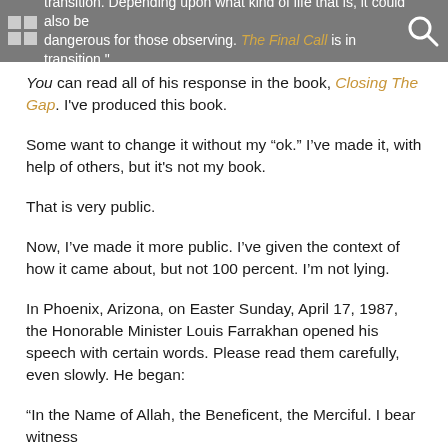transition. Depending upon what kind of life that is, it could also be dangerous for those observing. The Final Call is in transition.
You can read all of his response in the book, Closing The Gap. I've produced this book.
Some want to change it without my “ok.” I’ve made it, with help of others, but it’s not my book.
That is very public.
Now, I’ve made it more public. I’ve given the context of how it came about, but not 100 percent. I’m not lying.
In Phoenix, Arizona, on Easter Sunday, April 17, 1987, the Honorable Minister Louis Farrakhan opened his speech with certain words. Please read them carefully, even slowly. He began:
“In the Name of Allah, the Beneficent, the Merciful. I bear witness